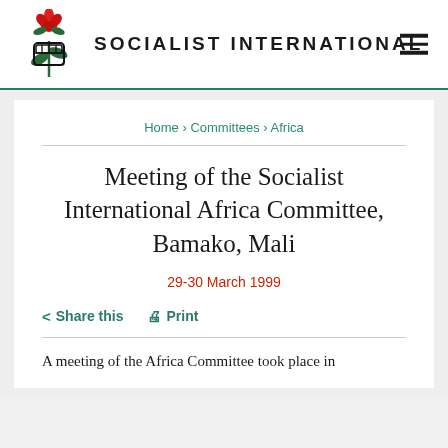SOCIALIST INTERNATIONAL
Home › Committees › Africa
Meeting of the Socialist International Africa Committee, Bamako, Mali
29-30 March 1999
< Share this   🖨 Print
A meeting of the Africa Committee took place in